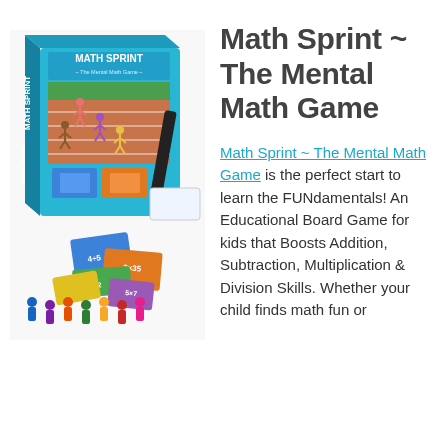[Figure (photo): Math Sprint board game box and components including colorful cards, playing pieces, and a whiteboard/marker, displayed on a white background.]
Math Sprint ~ The Mental Math Game
Math Sprint ~ The Mental Math Game is the perfect start to learn the FUNdamentals! An Educational Board Game for kids that Boosts Addition, Subtraction, Multiplication & Division Skills. Whether your child finds math fun or